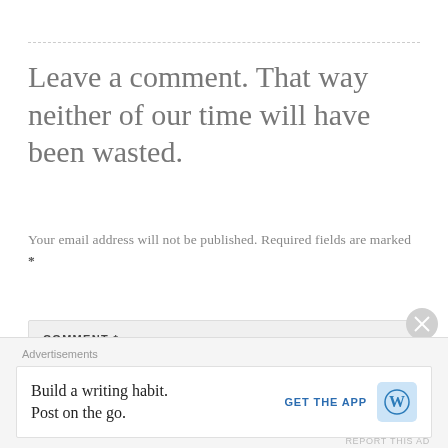Leave a comment. That way neither of our time will have been wasted.
Your email address will not be published. Required fields are marked *
COMMENT *
Advertisements
Build a writing habit. Post on the go.
GET THE APP